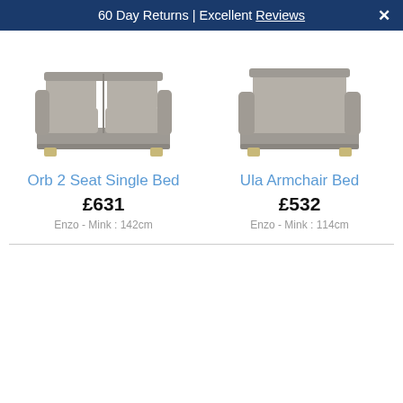60 Day Returns | Excellent Reviews ✕
[Figure (photo): Gray fabric 2-seat sofa bed (Orb 2 Seat Single Bed) with two back cushions and wooden feet]
Orb 2 Seat Single Bed
£631
Enzo - Mink : 142cm
[Figure (photo): Gray fabric armchair bed (Ula Armchair Bed) with single back cushion and wooden feet]
Ula Armchair Bed
£532
Enzo - Mink : 114cm